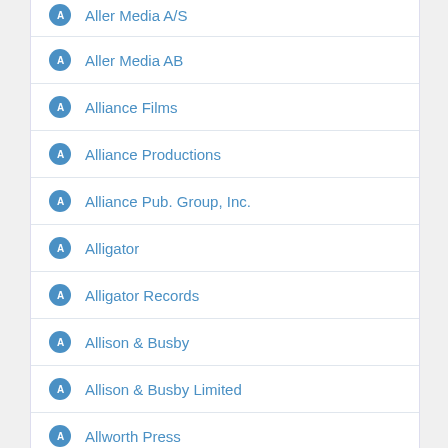Aller Media A/S
Aller Media AB
Alliance Films
Alliance Productions
Alliance Pub. Group, Inc.
Alligator
Alligator Records
Allison & Busby
Allison & Busby Limited
Allworth Press
Allworth Press, an imprint of Skyhorse Publishing